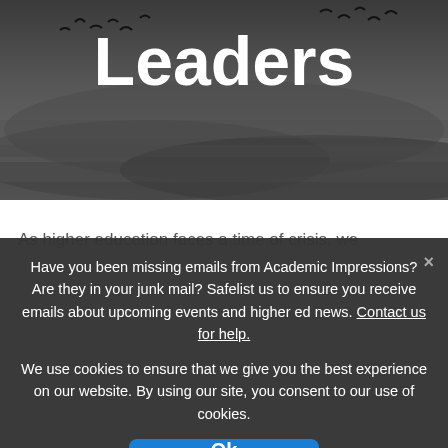[Figure (photo): Dark moody sky with birds flying overhead, hero image for a leadership-themed page with 'Leaders' text overlaid in white bold font]
As higher education faces a time of crisis, we
Have you been missing emails from Academic Impressions? Are they in your junk mail? Safelist us to ensure you receive emails about upcoming events and higher ed news. Contact us for help.
We use cookies to ensure that we give you the best experience on our website. By using our site, you consent to our use of cookies.